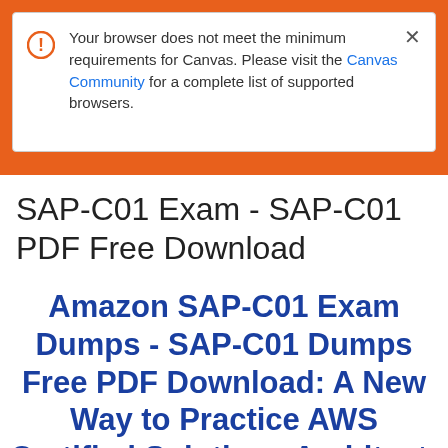[Figure (screenshot): Browser alert popup with orange left bar, warning icon circle, text about browser not meeting minimum requirements for Canvas, with a link to Canvas Community, and a close X button]
SAP-C01 Exam - SAP-C01 PDF Free Download
Amazon SAP-C01 Exam Dumps - SAP-C01 Dumps Free PDF Download: A New Way to Practice AWS Certified Solutions Architect- Professional